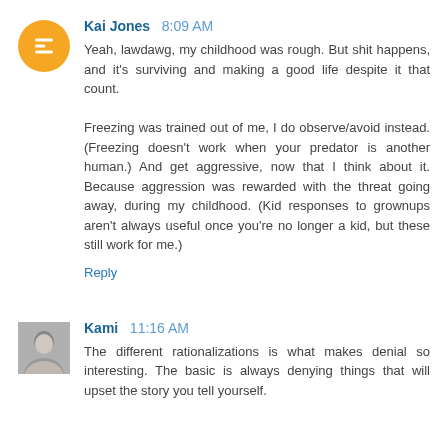Kai Jones 8:09 AM
Yeah, lawdawg, my childhood was rough. But shit happens, and it's surviving and making a good life despite it that count.

Freezing was trained out of me, I do observe/avoid instead. (Freezing doesn't work when your predator is another human.) And get aggressive, now that I think about it. Because aggression was rewarded with the threat going away, during my childhood. (Kid responses to grownups aren't always useful once you're no longer a kid, but these still work for me.)
Reply
Kami 11:16 AM
The different rationalizations is what makes denial so interesting. The basic is always denying things that will upset the story you tell yourself.